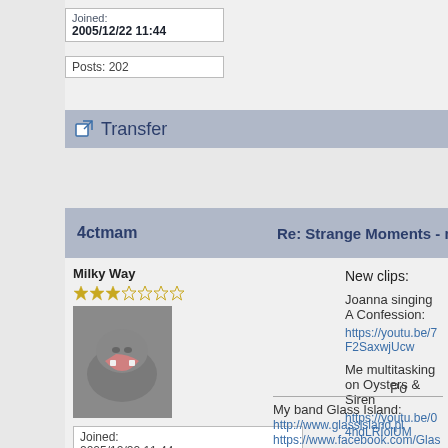Joined: 2005/12/22 11:44
Posts: 202
Transfer
Re: Strange Moments - my new ba vox, icl. Oysters & Sirens 2.0
4ctmam
Milky Way
[Figure (photo): User avatar photo of a ceramic hippo figurine with open mouth]
Joined: 2005/12/22 11:44
Posts: 202
New clips:

Joanna singing A Confession:
https://youtu.be/7F2SaxwjUcw

Me multitasking on Oysters & Siren
https://youtu.be/04hdLRIolUM

Also, there is a playlist with all the c
https://www.youtube.com/watch?...
9eQu6x7EWXwb17ZHwHZf-bVIr

Po

My band Glass Island:
http://www.glassisland.pl
https://www.facebook.com/Glas